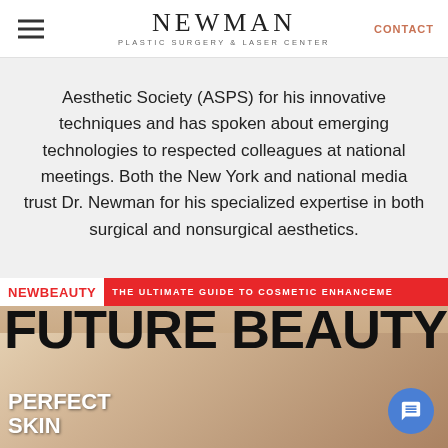NEWMAN PLASTIC SURGERY & LASER CENTER | CONTACT
Aesthetic Society (ASPS) for his innovative techniques and has spoken about emerging technologies to respected colleagues at national meetings. Both the New York and national media trust Dr. Newman for his specialized expertise in both surgical and nonsurgical aesthetics.
[Figure (photo): NewBeauty magazine cover featuring 'FUTURE BEAUTY' headline in large bold black text, red banner at top with 'THE ULTIMATE GUIDE TO COSMETIC ENHANCEMENT', 'PERFECT SKIN' text in white at bottom left, and a blonde woman's face visible in the lower portion of the cover.]